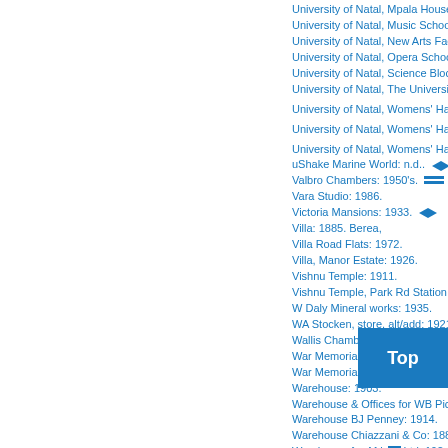University of Natal, Mpala House: c1970.
University of Natal, Music School: 2006.
University of Natal, New Arts Faculty: 1...
University of Natal, Opera School and C...
University of Natal, Science Block: n.d..
University of Natal, The University Uni...
University of Natal, Womens' Hall of Re...
University of Natal, Womens' Hall of Re...
University of Natal, Womens' Hall of Re...
uShake Marine World: n.d..
Valbro Chambers: 1950's.
Vara Studio: 1986.
Victoria Mansions: 1933.
Villa: 1885. Berea,
Villa Road Flats: 1972.
Villa, Manor Estate: 1926.
Vishnu Temple: 1911.
Vishnu Temple, Park Rd Station: 1930.
W Daly Mineral works: 1935.
WA Stocken, store, alt/add: 1921.
Wallis Chambers: 1903.
War Memorial: 1921.
War Memorial Arch, Memorial Gardens:...
Warehouse: 1903.
Warehouse & Offices for WB Pickles &...
Warehouse BJ Penney: 1914.
Warehouse Chiazzani & Co: 1889.
Warehouse for Afric... Ltd: 192...
Warehouse for Mah... Camro...
Warehouse for Mes... 925.
Warehouse for Mes... 926.
Warehouse for Ntl Land & Col: 1938.
Warehouse for Parry, Leon & Hayhoe:...